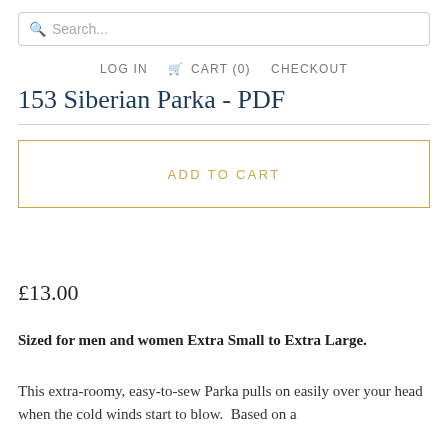Search...
LOG IN   CART (0)   CHECKOUT
153 Siberian Parka - PDF
ADD TO CART
£13.00
Sized for men and women Extra Small to Extra Large.
This extra-roomy, easy-to-sew Parka pulls on easily over your head when the cold winds start to blow.  Based on a